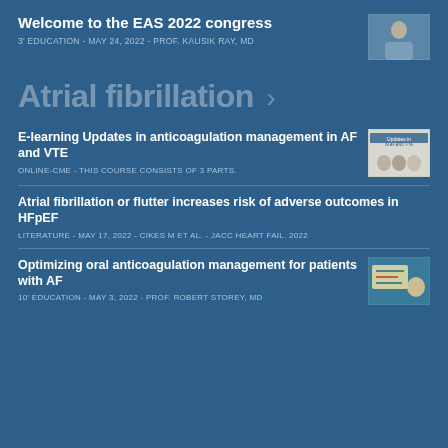Welcome to the EAS 2022 congress
3' EDUCATION - MAY 24, 2022 - PROF. KAUSIK RAY, MD
[Figure (photo): Thumbnail image of a presenter at EAS 2022 congress]
Atrial fibrillation >
E-learning Updates in anticoagulation management in AF and VTE
ONLINE-CME - THIS COURSE CONSISTS OF 3 PARTS.
[Figure (photo): Thumbnail image showing e-learning anticoagulation management course]
Atrial fibrillation or flutter increases risk of adverse outcomes in HFpEF
LITERATURE - MAY 17, 2022 - CIKES M ET AL. - JACC HEART FAIL. 2022
Optimizing oral anticoagulation management for patients with AF
10' EDUCATION - MAY 3, 2022 - PROF. ROBERT STOREY, MD
[Figure (photo): Thumbnail image of oral anticoagulation management lecture]